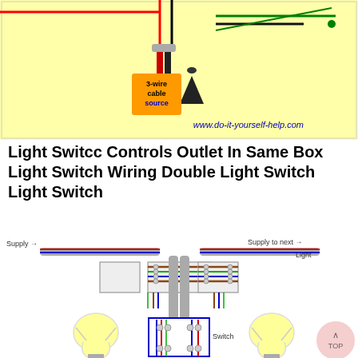[Figure (schematic): Top portion of an electrical wiring schematic showing a 3-wire cable source with colored wires (red, black, green) connecting to a ceiling light fixture against a yellow background. Label reads '3-wire cable source' in orange/blue text. Website watermark: www.do-it-yourself-help.com]
Light Switcc Controls Outlet In Same Box Light Switch Wiring Double Light Switch Light Switch
[Figure (schematic): Electrical wiring diagram showing two light bulbs connected via junction boxes and colored wires (blue, brown, green/yellow, red, grey cable) to a central switch box labeled 'Switch'. Labels: 'Supply →' on left, 'Supply to next →' and 'Light' on right.]